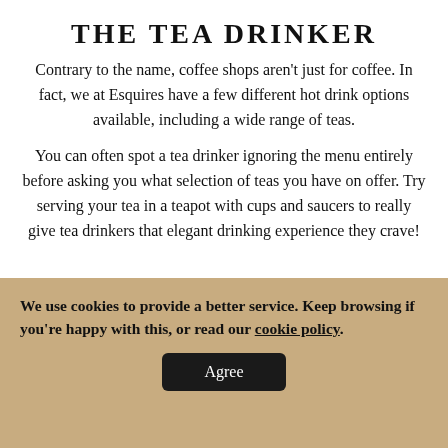THE TEA DRINKER
Contrary to the name, coffee shops aren't just for coffee. In fact, we at Esquires have a few different hot drink options available, including a wide range of teas.
You can often spot a tea drinker ignoring the menu entirely before asking you what selection of teas you have on offer. Try serving your tea in a teapot with cups and saucers to really give tea drinkers that elegant drinking experience they crave!
[Figure (photo): Close-up photo of a white tea cup and saucer from above against a light background]
We use cookies to provide a better service. Keep browsing if you're happy with this, or read our cookie policy.